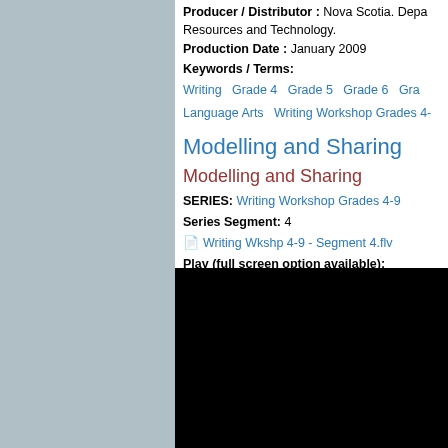Producer / Distributor : Nova Scotia. Depa... Resources and Technology.
Production Date : January 2009
Keywords / Terms:
Writing   Grade 4   Grade 5   Grade 6   Gra...   Language Arts   Writing Workshop Grades 4-...
Modelling and Sharing
Modelling and Sharing
SERIES: Writing Workshop Grades 4-9
Series Segment: 4
Writing Wkshp 4-9 - Segment 4.flv
Play (full screen option available):
[Figure (screenshot): Black video player area]